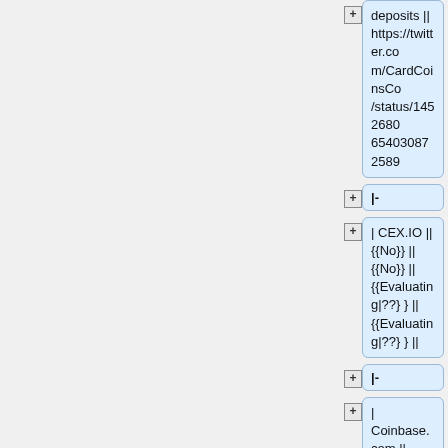deposits || https://twitter.com/CardCoinsCo/status/1452680654030872589
|-
| CEX.IO || {{No}} || {{No}} || {{Evaluating|??}} || {{Evaluating|??}} ||
|-
| Coinbase.com || {{Yes}} || {{No}} || {{No|Not a priority currently}} || {{No}} ||